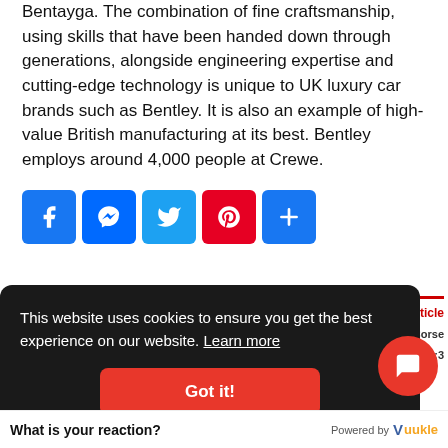Bentayga. The combination of fine craftsmanship, using skills that have been handed down through generations, alongside engineering expertise and cutting-edge technology is unique to UK luxury car brands such as Bentley. It is also an example of high-value British manufacturing at its best. Bentley employs around 4,000 people at Crewe.
[Figure (other): Social sharing buttons row: Facebook (blue), Messenger (blue), Twitter (light blue), Pinterest (red), More/Plus (blue)]
This website uses cookies to ensure you get the best experience on our website. Learn more
Got it!
What is your reaction?
Powered by Vuukle